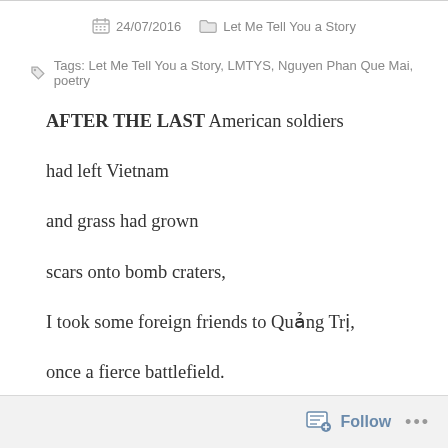24/07/2016   Let Me Tell You a Story
Tags: Let Me Tell You a Story, LMTYS, Nguyen Phan Que Mai, poetry
AFTER THE LAST American soldiers
had left Vietnam
and grass had grown
scars onto bomb craters,
I took some foreign friends to Quảng Trị,
once a fierce battlefield.
Follow ...